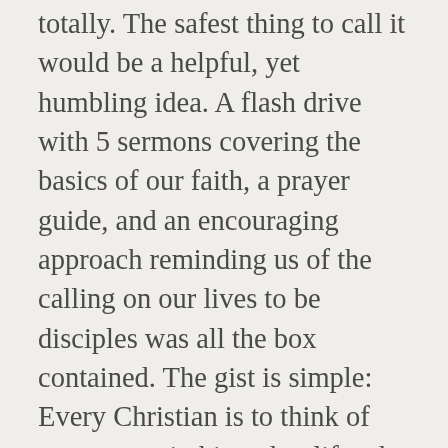totally.  The safest thing to call it would be a helpful, yet humbling idea.  A flash drive with 5 sermons covering the basics of our faith, a prayer guide, and an encouraging approach reminding us of the calling on our lives to be disciples was all the box contained. The gist is simple:  Every Christian is to think of one person in his or her life who is not a Christian and/or unchurched.  As you begin to pray for this person, you are also to ask God to give you strength and courage as you INTENTIONALLY try to witness to the “One” that’s on your heart.  In short, you focus...you get back to the core of being a disciple...a follower of Christ.  The material is humbling in that it’s a tremendous wake-up call to something so straightforward in Scripture.